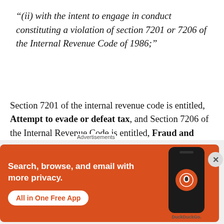“(ii) with the intent to engage in conduct constituting a violation of section 7201 or 7206 of the Internal Revenue Code of 1986;”
Section 7201 of the internal revenue code is entitled, Attempt to evade or defeat tax, and Section 7206 of the Internal Revenue Code is entitled, Fraud and false statements.
I have included the exact language of both
[Figure (other): DuckDuckGo advertisement banner with orange background showing 'Search, browse, and email with more privacy. All in One Free App' with a phone image and DuckDuckGo logo.]